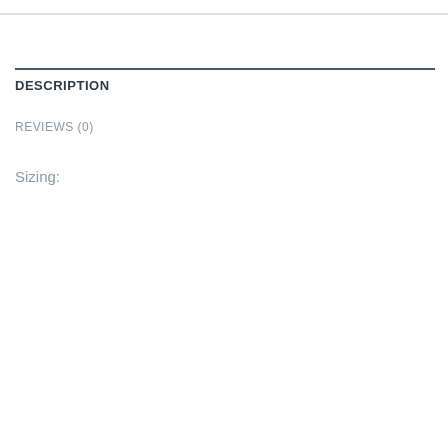DESCRIPTION
REVIEWS (0)
Sizing: